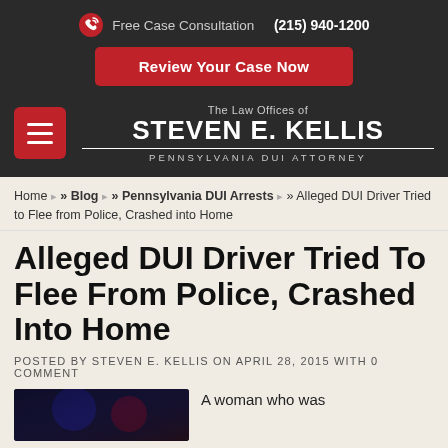Free Case Consultation (215) 940-1200
Review Your Case Now
[Figure (logo): The Law Offices of Steven E. Kellis — Pennsylvania DUI Attorney logo with hamburger menu button]
Home » Blog » Pennsylvania DUI Arrests » Alleged DUI Driver Tried to Flee from Police, Crashed into Home
Alleged DUI Driver Tried To Flee From Police, Crashed Into Home
POSTED BY STEVEN E. KELLIS ON APRIL 28, 2015 WITH 0 COMMENT
[Figure (photo): Dark photo with blue and red lights, likely police lights at night]
A woman who was